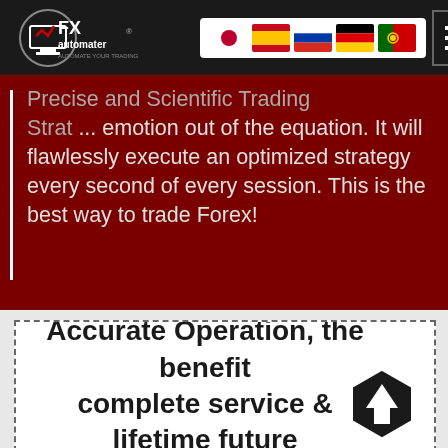[Figure (logo): FX Automater logo with text 'AUTOMATE YOUR TRADING' on dark background]
[Figure (infographic): Navigation bar with flag icons for Japan, Spain, Russia, Germany, Portugal and hamburger menu]
Precise and Scientific Trading Strategy...emotion out of the equation. It will flawlessly execute an optimized strategy every second of every session. This is the best way to trade Forex!
You have THE GUARANTEE of Accurate Operation, the benefit of complete service & lifetime future updates. ONLY by buying the